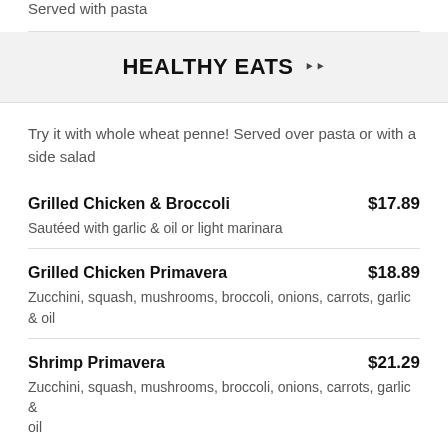Served with pasta
HEALTHY EATS
Try it with whole wheat penne! Served over pasta or with a side salad
Grilled Chicken & Broccoli $17.89 — Sautéed with garlic & oil or light marinara
Grilled Chicken Primavera $18.89 — Zucchini, squash, mushrooms, broccoli, onions, carrots, garlic & oil
Shrimp Primavera $21.29 — Zucchini, squash, mushrooms, broccoli, onions, carrots, garlic & oil